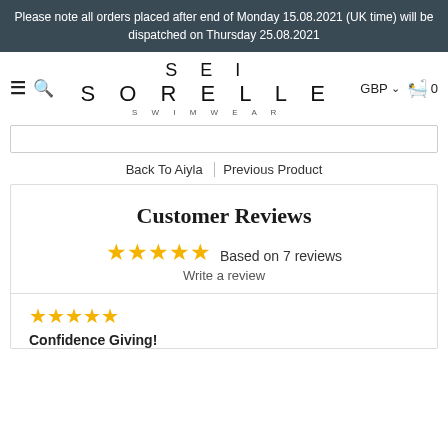Please note all orders placed after end of Monday 15.08.2021 (UK time) will be dispatched on Thursday 25.08.2021
[Figure (logo): Sei Sorelle Swimwear logo with navigation icons (hamburger menu, search, GBP currency selector, cart with 0 items)]
Back To Aiyla | Previous Product
Customer Reviews
★★★★★ Based on 7 reviews
Write a review
★★★★★
Confidence Giving!